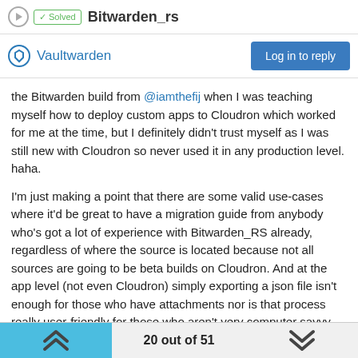✓ Solved   Bitwarden_rs
Vaultwarden
the Bitwarden build from @iamthefij when I was teaching myself how to deploy custom apps to Cloudron which worked for me at the time, but I definitely didn't trust myself as I was still new with Cloudron so never used it in any production level. haha.
I'm just making a point that there are some valid use-cases where it'd be great to have a migration guide from anybody who's got a lot of experience with Bitwarden_RS already, regardless of where the source is located because not all sources are going to be beta builds on Cloudron. And at the app level (not even Cloudron) simply exporting a json file isn't enough for those who have attachments nor is that process really user-friendly for those who aren't very computer savvy (I'm thinking my mom for example, I'd love to be hosting her passwords and fully plan on doing it, but what if I need to eventually migrate the instance? How do I make it so that there's no impact to her and I take all the load instead?), so a guide would be great if anyone's come across one or already
20 out of 51